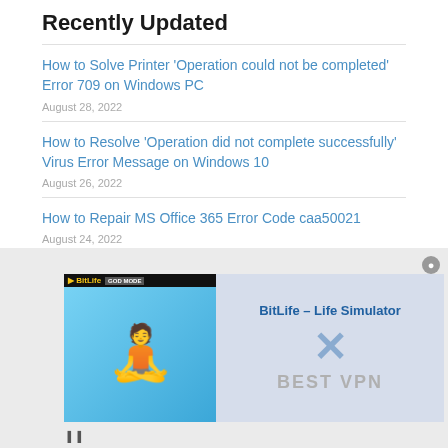Recently Updated
How to Solve Printer ‘Operation could not be completed’ Error 709 on Windows PC
August 28, 2022
How to Resolve ‘Operation did not complete successfully’ Virus Error Message on Windows 10
August 26, 2022
How to Repair MS Office 365 Error Code caa50021
August 24, 2022
[Figure (screenshot): BitLife - Life Simulator advertisement overlay with media error message 'No compatible source was found for this media.' and BEST VPN watermark]